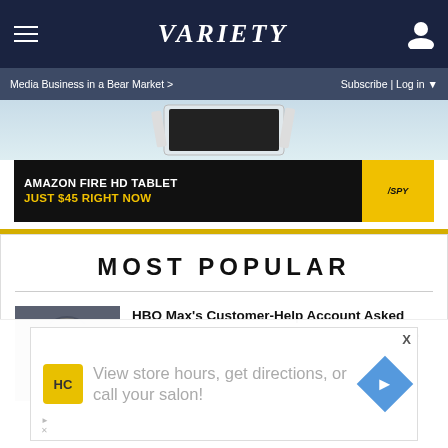Variety — Media Business in a Bear Market > | Subscribe | Log in
[Figure (screenshot): Amazon Fire HD Tablet advertisement banner — 'AMAZON FIRE HD TABLET JUST $45 RIGHT NOW' with SPY logo on yellow background]
MOST POPULAR
[Figure (photo): Thumbnail image of armored fantasy character from House of the Dragon]
HBO Max's Customer-Help Account Asked HBO Max If It Needed Help Streaming 'House of the Dragon'
[Figure (screenshot): Overlay advertisement: View store hours, get directions, or call your salon! — HC logo and navigation icon]